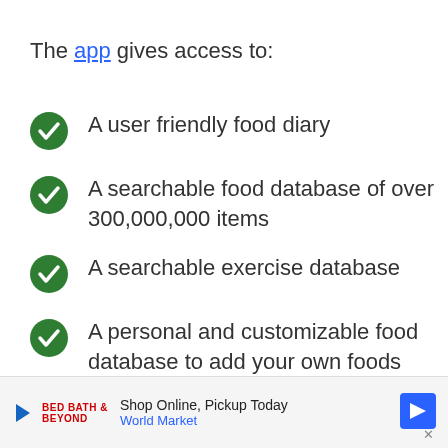The app gives access to:
A user friendly food diary
A searchable food database of over 300,000,000 items
A searchable exercise database
A personal and customizable food database to add your own foods and recipes
Shop Online, Pickup Today World Market